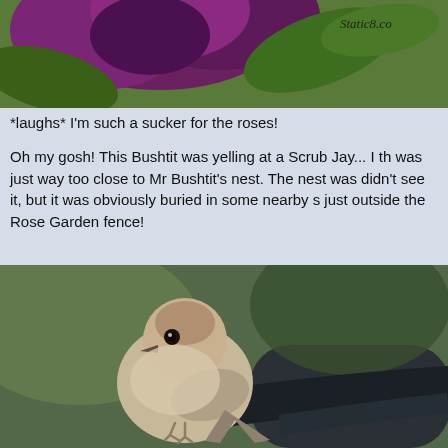[Figure (photo): Close-up photo of a purple/magenta flower (hibiscus or similar) with green leaves, watermark 'Static8.com' in top right corner]
*laughs* I'm such a sucker for the roses!

Oh my gosh! This Bushtit was yelling at a Scrub Jay... I th was just way too close to Mr Bushtit's nest. The nest was didn't see it, but it was obviously buried in some nearby s just outside the Rose Garden fence!
[Figure (photo): Close-up photo of a small brown/tan bird (Bushtit) perched on a dark curved bar or railing, with blurred green background]